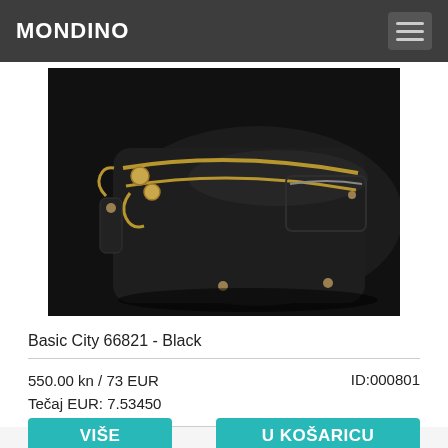MONDINO
[Figure (photo): Black leather crossbody/clutch bag (Basic City 66821) with gold-tone double zippers and a side pocket, photographed on white background.]
Basic City 66821 - Black
550.00 kn / 73 EUR
Tečaj EUR: 7.53450
ID:000801
VIŠE
U KOŠARICU